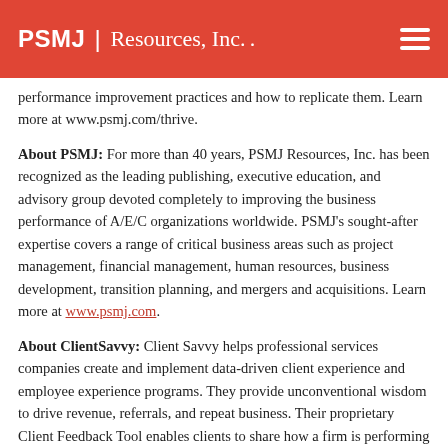PSMJ Resources, Inc.
performance improvement practices and how to replicate them. Learn more at www.psmj.com/thrive.
About PSMJ: For more than 40 years, PSMJ Resources, Inc. has been recognized as the leading publishing, executive education, and advisory group devoted completely to improving the business performance of A/E/C organizations worldwide. PSMJ's sought-after expertise covers a range of critical business areas such as project management, financial management, human resources, business development, transition planning, and mergers and acquisitions. Learn more at www.psmj.com.
About ClientSavvy: Client Savvy helps professional services companies create and implement data-driven client experience and employee experience programs. They provide unconventional wisdom to drive revenue, referrals, and repeat business. Their proprietary Client Feedback Tool enables clients to share how a firm is performing relative to expectations on the most relevant